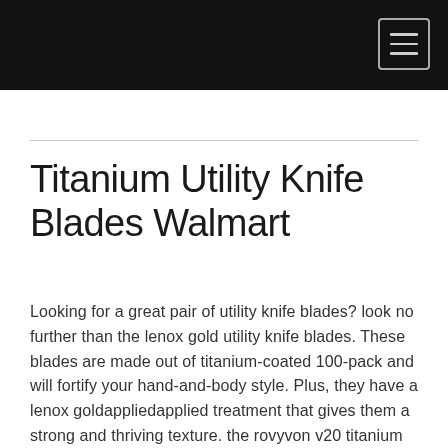Titanium Utility Knife Blades Walmart
Looking for a great pair of utility knife blades? look no further than the lenox gold utility knife blades. These blades are made out of titanium-coated 100-pack and will fortify your hand-and-body style. Plus, they have a lenox goldappliedapplied treatment that gives them a strong and thriving texture. the rovyvon v20 titanium utility knife blade is made of titanium and is replacements for the standard knife blade in a 1' x 1' size. It is also featuring a new, razor-like blade that can be replaced without having to remove the knife